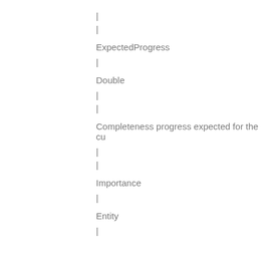|
|
ExpectedProgress
|
Double
|
|
Completeness progress expected for the cu
|
|
Importance
|
Entity
|